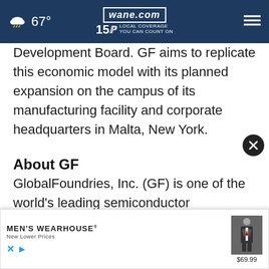wane.com 15 LOCAL COVERAGE YOU CAN COUNT ON — 67°
Development Board. GF aims to replicate this economic model with its planned expansion on the campus of its manufacturing facility and corporate headquarters in Malta, New York.
About GF
GlobalFoundries, Inc. (GF) is one of the world's leading semiconductor manufacturers. GF is redefining innovation and semiconductor manufacturing feature-rich process technology solutions that
[Figure (screenshot): Men's Wearhouse advertisement overlay with logo, 'New Lower Prices' tagline, a suit image, and $69.99 price. Includes X (Twitter) and play button icons at bottom left, and a close (X) button circle at top right.]